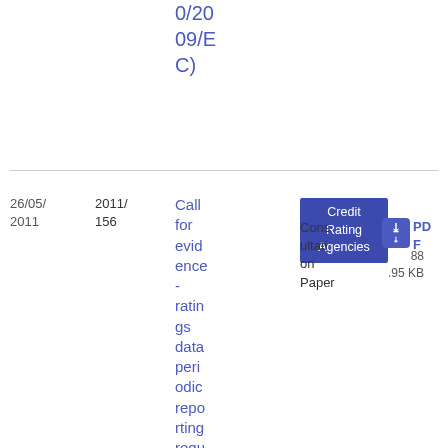0/2009/EC)
26/05/2011
2011/156
Call for evidence - ratings data periodic reporting requirements for CRAs
Credit Rating Agencies
Consultation Paper
PDF
88.95 KB